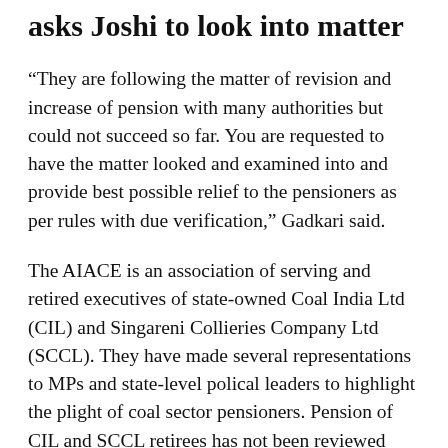asks Joshi to look into matter
“They are following the matter of revision and increase of pension with many authorities but could not succeed so far. You are requested to have the matter looked and examined into and provide best possible relief to the pensioners as per rules with due verification,” Gadkari said.
The AIACE is an association of serving and retired executives of state-owned Coal India Ltd (CIL) and Singareni Collieries Company Ltd (SCCL). They have made several representations to MPs and state-level polical leaders to highlight the plight of coal sector pensioners. Pension of CIL and SCCL retirees has not been reviewed since 1998 even